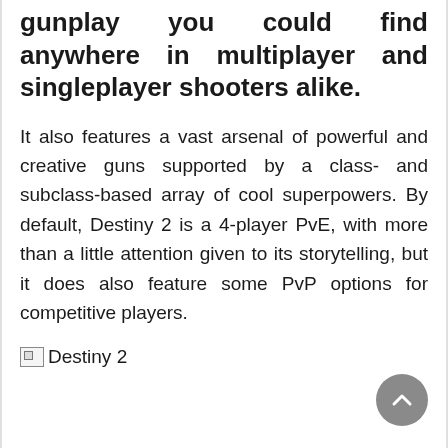Destiny 2 has some of the finest gunplay you could find anywhere in multiplayer and singleplayer shooters alike.
It also features a vast arsenal of powerful and creative guns supported by a class- and subclass-based array of cool superpowers. By default, Destiny 2 is a 4-player PvE, with more than a little attention given to its storytelling, but it does also feature some PvP options for competitive players.
[Figure (photo): Broken image placeholder with alt text 'Destiny 2']